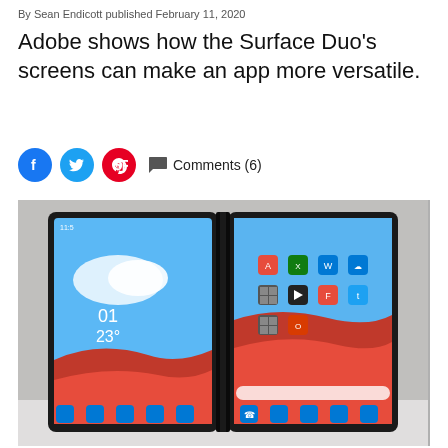By Sean Endicott published February 11, 2020
Adobe shows how the Surface Duo's screens can make an app more versatile.
[Figure (other): Social media share icons: Facebook (blue circle), Twitter (blue circle), Pinterest (red circle), and a speech bubble Comments (6) link]
[Figure (photo): Microsoft Surface Duo dual-screen device open, showing the left screen with a clock (01:23) and wallpaper, and the right screen with app icons grid on a red and blue wallpaper, photographed against a grey background.]